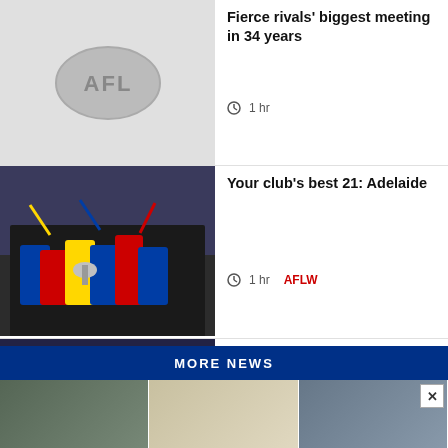[Figure (photo): AFL logo placeholder image on grey background]
Fierce rivals' biggest meeting in 34 years
1 hr
[Figure (photo): Adelaide Crows AFLW players celebrating with trophy]
Your club's best 21: Adelaide
1 hr  AFLW
[Figure (photo): Port Adelaide players walking out onto field]
'You can't let go of people like Robbie': Hinkley pays tribute to...
6 hrs
MORE NEWS
[Figure (photo): Advertisement banner showing AFL players collage]